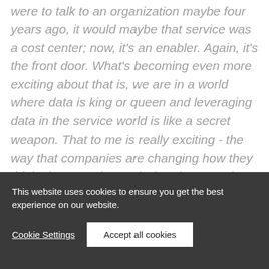were to talk to an organization maybe four years ago, it would maybe that service was a cost center; now, it's an enabler. Again, it's the front door. What's becoming even more exciting about that is, we are in a world where data is king or queen and leveraging data in the service world is like a secret weapon. That to me is really exciting - the way that companies are changing how they think about service and what data can do for them.
This website uses cookies to ensure you get the best experience on our website.